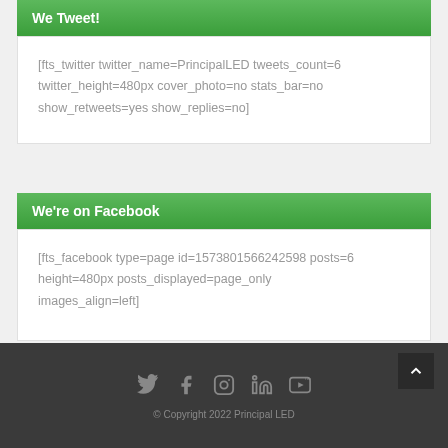We Tweet!
[fts_twitter twitter_name=PrincipalLED tweets_count=6 twitter_height=480px cover_photo=no stats_bar=no show_retweets=yes show_replies=no]
We're on Facebook
[fts_facebook type=page id=1573801566242598 posts=6 height=480px posts_displayed=page_only images_align=left]
© Copyright 2022 Principal LED